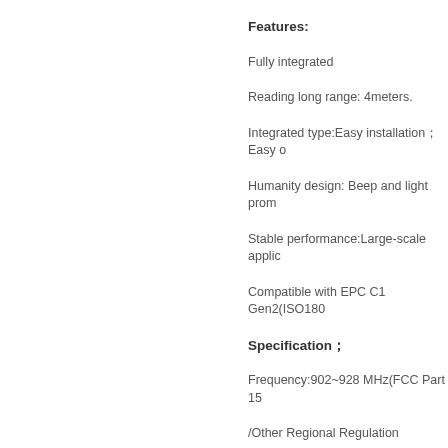Features:
Fully integrated
Reading long range: 4meters.
Integrated type:Easy installation；Easy o
Humanity design: Beep and light prom
Stable performance:Large-scale applic
Compatible with EPC C1 Gen2(ISO180
Specification；
Frequency:902~928 MHz(FCC Part 15
/Other Regional Regulation
Supported Protocols :EPC C1 Gen2(IS
RF Power :20~30DBm